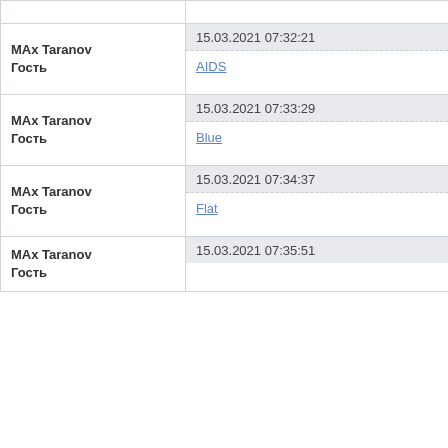| User | Timestamp / Message |
| --- | --- |
| MAx Taranov
Гость | 15.03.2021 07:32:21 | AIDS |
| MAx Taranov
Гость | 15.03.2021 07:33:29 | Blue |
| MAx Taranov
Гость | 15.03.2021 07:34:37 | Flat |
| MAx Taranov
Гость | 15.03.2021 07:35:51 |